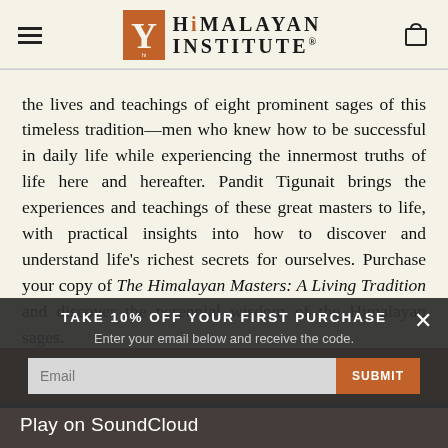[Figure (logo): Himalayan Institute logo with orange Y icon and text]
the lives and teachings of eight prominent sages of this timeless tradition—men who knew how to be successful in daily life while experiencing the innermost truths of life here and hereafter. Pandit Tigunait brings the experiences and teachings of these great masters to life, with practical insights into how to discover and understand life's richest secrets for ourselves. Purchase your copy of The Himalayan Masters: A Living Tradition and discover the perennial wisdom of the Himalayan sages.
TAKE 10% OFF YOUR FIRST PURCHASE
Enter your email below and receive the code.
Play on SoundCloud